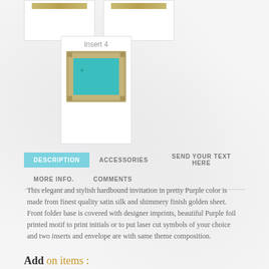[Figure (illustration): Two product card thumbnails at top, each showing a gold horizontal bar on white background]
[Figure (illustration): Insert 4 card showing a teal/turquoise rectangle centered on a tan/beige decorative border background]
DESCRIPTION | ACCESSORIES | SEND YOUR TEXT HERE | MORE INFO. | COMMENTS (navigation tabs)
This elegant and stylish hardbound invitation in pretty Purple color is made from finest quality satin silk and shimmery finish golden sheet. Front folder base is covered with designer imprints, beautiful Purple foil printed motif to print initials or to put laser cut symbols of your choice and two inserts and envelope are with same theme composition.
Add on items :